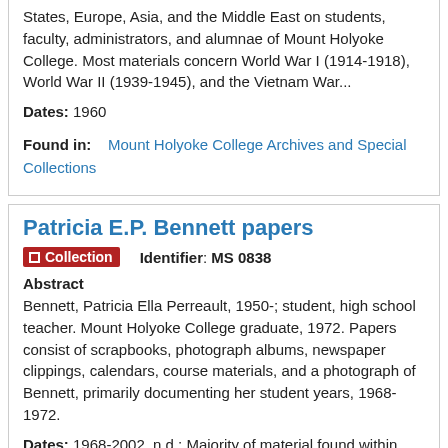States, Europe, Asia, and the Middle East on students, faculty, administrators, and alumnae of Mount Holyoke College. Most materials concern World War I (1914-1918), World War II (1939-1945), and the Vietnam War...
Dates: 1960
Found in: Mount Holyoke College Archives and Special Collections
Patricia E.P. Bennett papers
Collection   Identifier: MS 0838
Abstract
Bennett, Patricia Ella Perreault, 1950-; student, high school teacher. Mount Holyoke College graduate, 1972. Papers consist of scrapbooks, photograph albums, newspaper clippings, calendars, course materials, and a photograph of Bennett, primarily documenting her student years, 1968-1972.
Dates: 1968-2002, n.d.; Majority of material found within 1968 - 1972